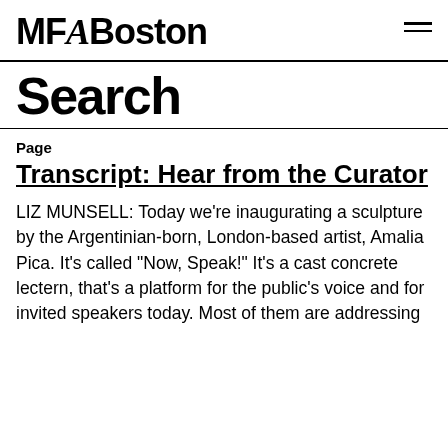MFABoston
Search
Page
Transcript: Hear from the Curator
LIZ MUNSELL: Today we're inaugurating a sculpture by the Argentinian-born, London-based artist, Amalia Pica. It's called "Now, Speak!" It's a cast concrete lectern, that's a platform for the public's voice and for invited speakers today. Most of them are addressing